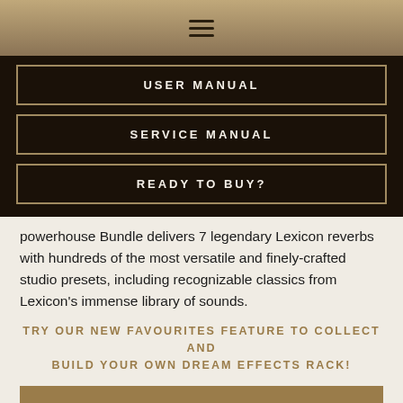≡
USER MANUAL
SERVICE MANUAL
READY TO BUY?
powerhouse Bundle delivers 7 legendary Lexicon reverbs with hundreds of the most versatile and finely-crafted studio presets, including recognizable classics from Lexicon's immense library of sounds.
TRY OUR NEW FAVOURITES FEATURE TO COLLECT AND BUILD YOUR OWN DREAM EFFECTS RACK!
👍 3 | ADD TO MY FAVOURITES
VIEW YOUR FAVOURITES